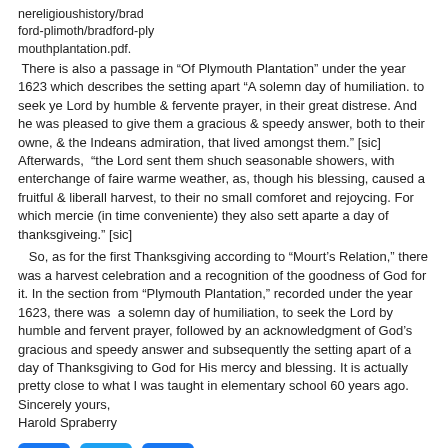nereligioushistory/brad ford-plimoth/bradford-ply mouthplantation.pdf.
There is also a passage in “Of Plymouth Plantation” under the year 1623 which describes the setting apart “A solemn day of humiliation. to seek ye Lord by humble & fervente prayer, in their great distrese. And he was pleased to give them a gracious & speedy answer, both to their owne, & the Indeans admiration, that lived amongst them.” [sic] Afterwards, “the Lord sent them shuch seasonable showers, with enterchange of faire warme weather, as, though his blessing, caused a fruitful & liberall harvest, to their no small comforet and rejoycing. For which mercie (in time conveniente) they also sett aparte a day of thanksgiveing.” [sic]
So, as for the first Thanksgiving according to “Mourt’s Relation,” there was a harvest celebration and a recognition of the goodness of God for it. In the section from “Plymouth Plantation,” recorded under the year 1623, there was a solemn day of humiliation, to seek the Lord by humble and fervent prayer, followed by an acknowledgment of God’s gracious and speedy answer and subsequently the setting apart of a day of Thanksgiving to God for His mercy and blessing. It is actually pretty close to what I was taught in elementary school 60 years ago. Sincerely yours,
Harold Spraberry
[Figure (other): Three social sharing buttons: Facebook (blue, f icon), Twitter (light blue, bird icon), and a plus/share button (blue, + icon)]